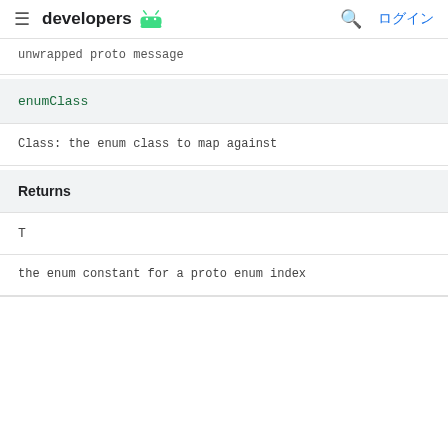developers | ログイン
unwrapped proto message
| enumClass |
| --- |
| Class: the enum class to map against |
| Returns |
| --- |
| T |
| the enum constant for a proto enum index |